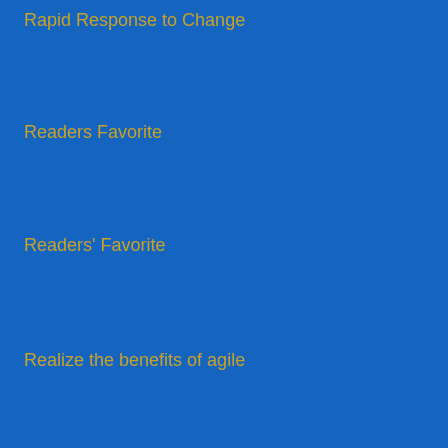Rapid Response to Change
Readers Favorite
Readers' Favorite
Realize the benefits of agile
Realizing Higher Project Performance Through Project Management Maturity
Recommended Rating
Red Hat
Reporting
Research